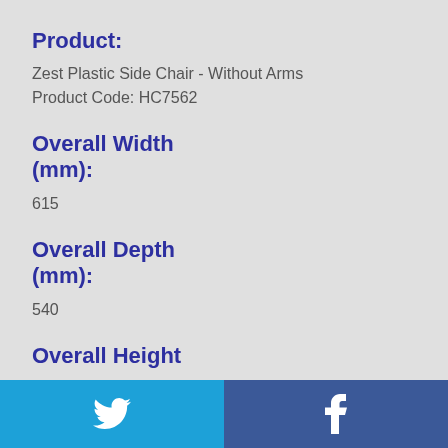Product:
Zest Plastic Side Chair - Without Arms
Product Code: HC7562
Overall Width (mm):
615
Overall Depth (mm):
540
Overall Height
Twitter | Facebook